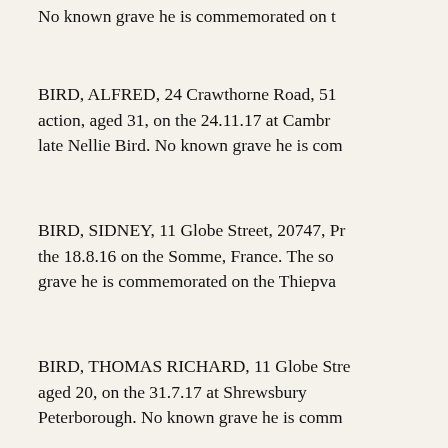No known grave he is commemorated on t
BIRD, ALFRED, 24 Crawthorne Road, 5... action, aged 31, on the 24.11.17 at Cambr... late Nellie Bird. No known grave he is com...
BIRD, SIDNEY, 11 Globe Street, 20747, Pr... the 18.8.16 on the Somme, France. The s... grave he is commemorated on the Thiepv...
BIRD, THOMAS RICHARD, 11 Globe Stre... aged 20, on the 31.7.17 at Shrewsbury... Peterborough. No known grave he is comm...
BIRKBECK, GERVASE WILLIAM, Barclays... aged 30, on the 20.4.17. The son of Henr... Lynn. No known grave he is commemorate...